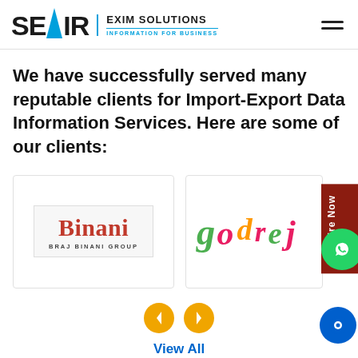SEAIR EXIM SOLUTIONS INFORMATION FOR BUSINESS
We have successfully served many reputable clients for Import-Export Data Information Services. Here are some of our clients:
[Figure (logo): Binani Braj Binani Group logo — red serif 'Binani' text with grey background and 'BRAJ BINANI GROUP' in small caps below]
[Figure (logo): Godrej logo in colorful script lettering — green, pink/magenta, and yellow colors]
[Figure (other): Navigation arrows: left and right circular amber/gold buttons, and View All link with up arrow button below]